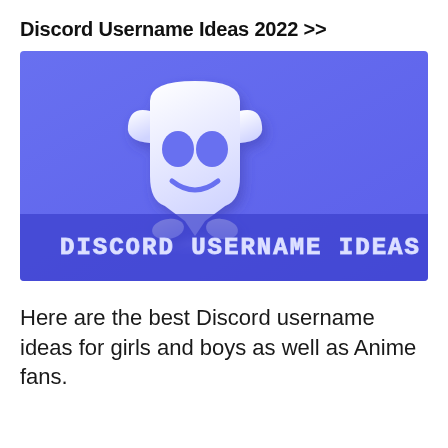Discord Username Ideas 2022 >>
[Figure (illustration): Discord logo mascot (white cartoon character) on a purple/blue gradient background with text 'DISCORD USERNAME IDEAS' at the bottom in a futuristic font with a metallic style]
Here are the best Discord username ideas for girls and boys as well as Anime fans.